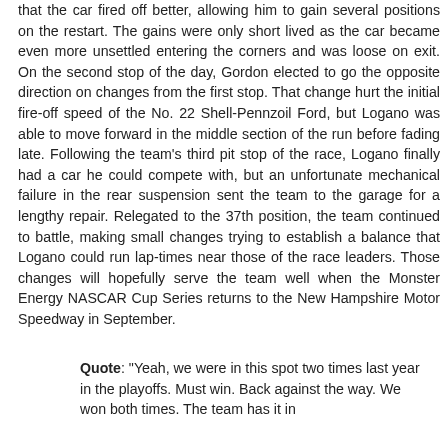that the car fired off better, allowing him to gain several positions on the restart. The gains were only short lived as the car became even more unsettled entering the corners and was loose on exit. On the second stop of the day, Gordon elected to go the opposite direction on changes from the first stop. That change hurt the initial fire-off speed of the No. 22 Shell-Pennzoil Ford, but Logano was able to move forward in the middle section of the run before fading late. Following the team's third pit stop of the race, Logano finally had a car he could compete with, but an unfortunate mechanical failure in the rear suspension sent the team to the garage for a lengthy repair. Relegated to the 37th position, the team continued to battle, making small changes trying to establish a balance that Logano could run lap-times near those of the race leaders. Those changes will hopefully serve the team well when the Monster Energy NASCAR Cup Series returns to the New Hampshire Motor Speedway in September.
Quote: "Yeah, we were in this spot two times last year in the playoffs. Must win. Back against the way. We won both times. The team has it in